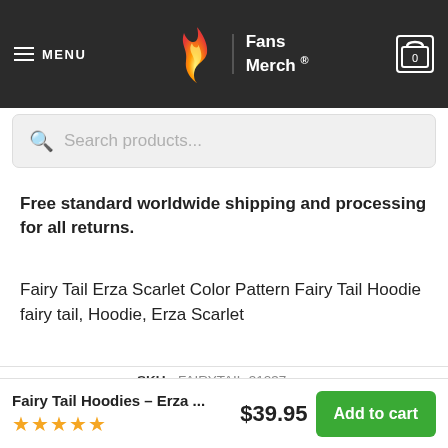MENU | Fans Merch ® | 0
Search products...
Free standard worldwide shipping and processing for all returns.
Fairy Tail Erza Scarlet Color Pattern Fairy Tail Hoodie fairy tail, Hoodie, Erza Scarlet
| Field | Value |
| --- | --- |
| SKU: | FAIRYTAIL-31237 |
| Categories: | Erza Scarlet Merch, Fairy Tail Hoodies |
| Tags: | Erza Scarlet, fairy tail, Hoodie |
Fairy Tail Hoodies – Erza ... | $39.95 | Add to cart | ★★★★★